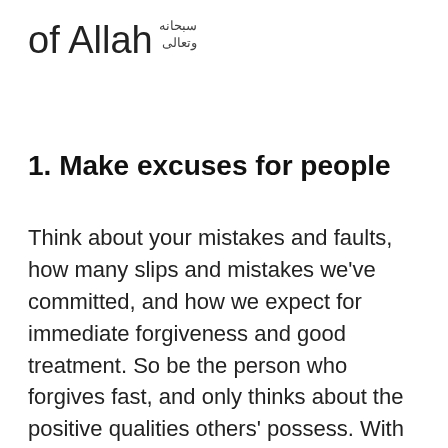of Allah سبحانه وتعالى
1. Make excuses for people
Think about your mistakes and faults, how many slips and mistakes we've committed, and how we expect for immediate forgiveness and good treatment. So be the person who forgives fast, and only thinks about the positive qualities others' possess. With dua and sincere intention, Allah سبحانه وتعالى will grant us the ability to ignore negative suspicions and help us master this [habit]. I've found that Sr. Yasmin Mogahed, author, said: "Sometimes the reason we can't